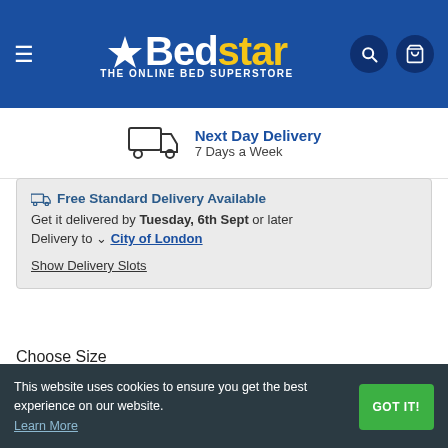[Figure (screenshot): Bedstar e-commerce website header with logo, hamburger menu, search icon, and cart icon on blue background]
Next Day Delivery
7 Days a Week
Free Standard Delivery Available
Get it delivered by Tuesday, 6th Sept or later
Delivery to ~ City of London
Show Delivery Slots
Choose Size
Double ( In stock )
Choose Options
This website uses cookies to ensure you get the best experience on our website. Learn More